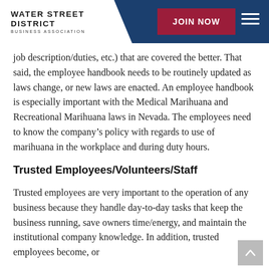WATER STREET DISTRICT BUSINESS ASSOCIATION | JOIN NOW
job description/duties, etc.) that are covered the better. That said, the employee handbook needs to be routinely updated as laws change, or new laws are enacted. An employee handbook is especially important with the Medical Marihuana and Recreational Marihuana laws in Nevada. The employees need to know the company's policy with regards to use of marihuana in the workplace and during duty hours.
Trusted Employees/Volunteers/Staff
Trusted employees are very important to the operation of any business because they handle day-to-day tasks that keep the business running, save owners time/energy, and maintain the institutional company knowledge. In addition, trusted employees become, or